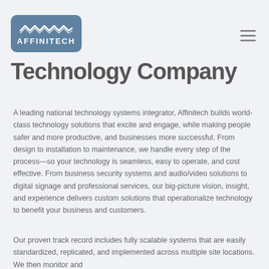AFFINITECH
Technology Company
A leading national technology systems integrator, Affinitech builds world-class technology solutions that excite and engage, while making people safer and more productive, and businesses more successful. From design to installation to maintenance, we handle every step of the process—so your technology is seamless, easy to operate, and cost effective. From business security systems and audio/video solutions to digital signage and professional services, our big-picture vision, insight, and experience delivers custom solutions that operationalize technology to benefit your business and customers.
Our proven track record includes fully scalable systems that are easily standardized, replicated, and implemented across multiple site locations. We then monitor and